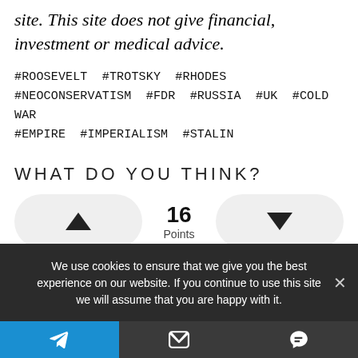site. This site does not give financial, investment or medical advice.
#ROOSEVELT #TROTSKY #RHODES #NEOCONSERVATISM #FDR #RUSSIA #UK #COLD WAR #EMPIRE #IMPERIALISM #STALIN
WHAT DO YOU THINK?
[Figure (other): Voting widget with upvote button (triangle up), 16 Points, and downvote button (triangle down)]
We use cookies to ensure that we give you the best experience on our website. If you continue to use this site we will assume that you are happy with it.
Telegram icon | Email icon | Comment icon